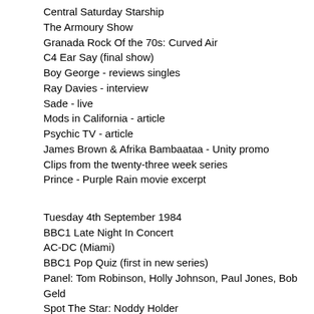Central Saturday Starship
The Armoury Show
Granada Rock Of the 70s: Curved Air
C4 Ear Say (final show)
Boy George - reviews singles
Ray Davies - interview
Sade - live
Mods in California - article
Psychic TV - article
James Brown & Afrika Bambaataa - Unity promo
Clips from the twenty-three week series
Prince - Purple Rain movie excerpt
Tuesday 4th September 1984
BBC1 Late Night In Concert
AC-DC (Miami)
BBC1 Pop Quiz (first in new series)
Panel: Tom Robinson, Holly Johnson, Paul Jones, Bob Geld
Spot The Star: Noddy Holder
BBC1 The Lenny Henry Show (first edition)
Musical Youth - You Must Be Crazy
C4 Play At Home
Siouxsie & The Banshees: Alice In Wonderland
Wednesday 5th September 1984